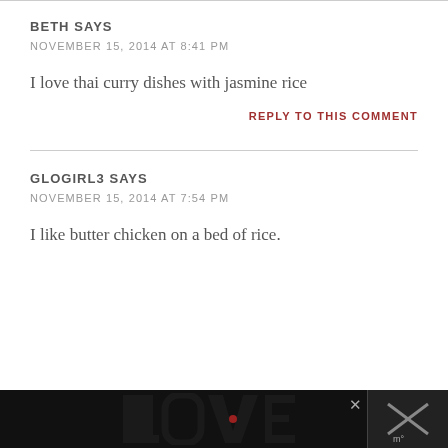BETH SAYS
NOVEMBER 15, 2014 AT 8:41 PM
I love thai curry dishes with jasmine rice
REPLY TO THIS COMMENT
GLOGIRL3 SAYS
NOVEMBER 15, 2014 AT 7:54 PM
I like butter chicken on a bed of rice.
[Figure (other): Advertisement banner at bottom showing decorative LOVE text art in black and white, with a close button and partial right-side panel]